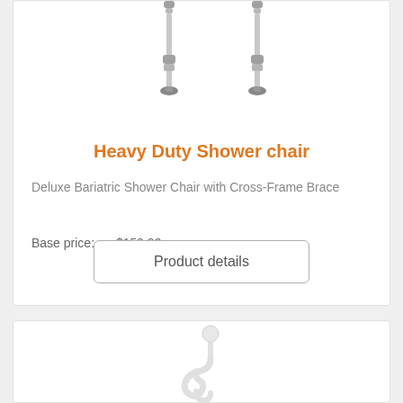[Figure (photo): Shower chair legs visible at top of card — partial view of a heavy duty shower chair]
Heavy Duty Shower chair
Deluxe Bariatric Shower Chair with Cross-Frame Brace
Base price:    $159.90
Product details
[Figure (photo): Partial view of a white shower/bath accessory item — handheld shower or similar device]